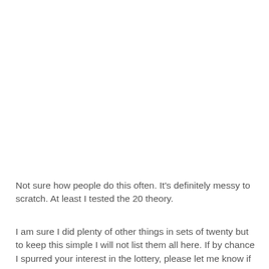Not sure how people do this often. It’s definitely messy to scratch. At least I tested the 20 theory.
I am sure I did plenty of other things in sets of twenty but to keep this simple I will not list them all here. If by chance I spurred your interest in the lottery, please let me know if